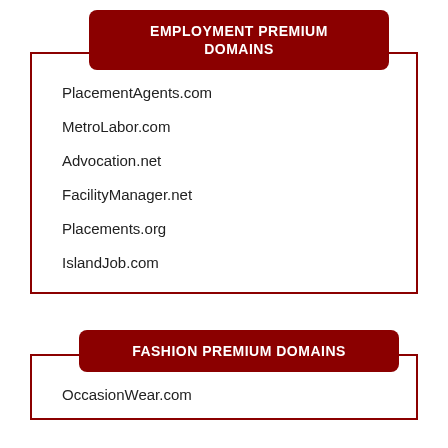EMPLOYMENT PREMIUM DOMAINS
PlacementAgents.com
MetroLabor.com
Advocation.net
FacilityManager.net
Placements.org
IslandJob.com
FASHION PREMIUM DOMAINS
OccasionWear.com